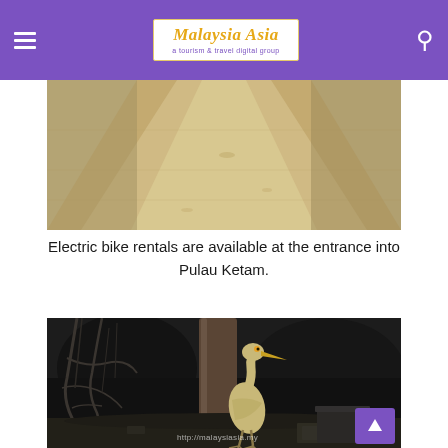Malaysia Asia – a tourism & travel digital group
[Figure (photo): Dirt/gravel path at Pulau Ketam, viewed from low angle showing the wide sandy trail]
Electric bike rentals are available at the entrance into Pulau Ketam.
[Figure (photo): A heron/night heron bird standing in mangrove mud among roots and debris, with watermark http://malaysiasia.my and a scroll-to-top purple button]